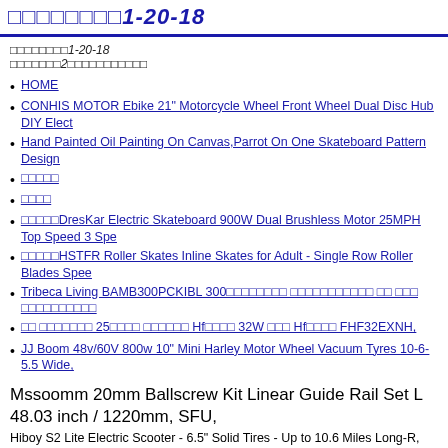□□□□□□□□1-20-18
□□□□□□□2□□□□□□□□□□□
HOME
CONHIS MOTOR Ebike 21" Motorcycle Wheel Front Wheel Dual Disc Hub DIY Elect
Hand Painted Oil Painting On Canvas,Parrot On One Skateboard Pattern Design
□□□□□
□□□□
□□□□□DresKar Electric Skateboard 900W Dual Brushless Motor 25MPH Top Speed 3 Spe
□□□□□HSTFR Roller Skates Inline Skates for Adult - Single Row Roller Blades Spee
Tribeca Living BAMB300PCKIBL 300□□□□□□□□ □□□□□□□□□□□ □□ □□□ □□□□□□□□□□
□□ □□□□□□□ 25□□□□ □□□□□□ Hf□□□□ 32W □□□ Hf□□□□ FHF32EXNH,
JJ Boom 48v/60V 800w 10" Mini Harley Motor Wheel Vacuum Tyres 10-6-5.5 Wide,
Mssoomm 20mm Ballscrew Kit Linear Guide Rail Set L 48.03 inch / 1220mm, SFU,
Hiboy S2 Lite Electric Scooter - 6.5" Solid Tires - Up to 10.6 Miles Long-R,